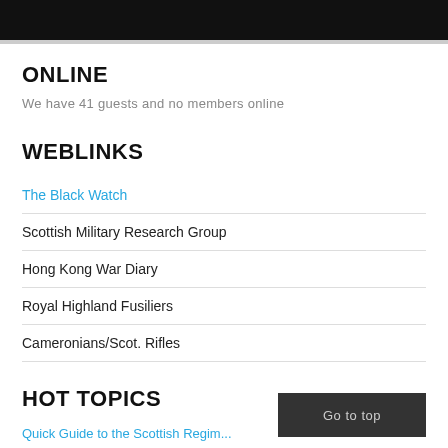ONLINE
We have 41 guests and no members online
WEBLINKS
The Black Watch
Scottish Military Research Group
Hong Kong War Diary
Royal Highland Fusiliers
Cameronians/Scot. Rifles
HOT TOPICS
Quick Guide to the Scottish Regim...